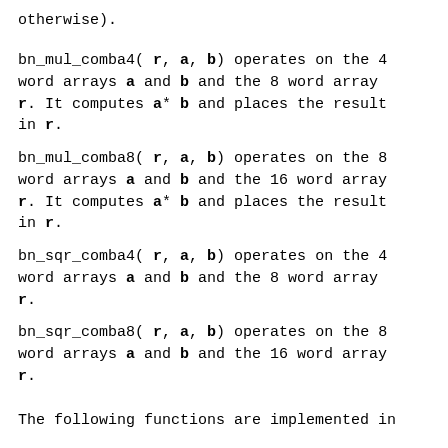otherwise).
bn_mul_comba4( r, a, b) operates on the 4 word arrays a and b and the 8 word array r. It computes a* b and places the result in r.
bn_mul_comba8( r, a, b) operates on the 8 word arrays a and b and the 16 word array r. It computes a* b and places the result in r.
bn_sqr_comba4( r, a, b) operates on the 4 word arrays a and b and the 8 word array r.
bn_sqr_comba8( r, a, b) operates on the 8 word arrays a and b and the 16 word array r.
The following functions are implemented in